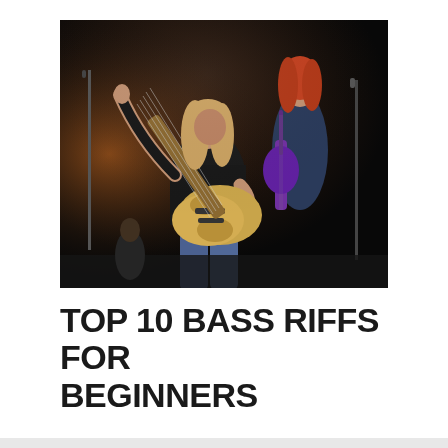[Figure (photo): Two musicians performing on stage in dark lighting. Foreground: a young person with long hair wearing a black t-shirt playing a gold/natural wood bass guitar. Background: another performer with red hair playing a purple electric guitar. Stage lighting creates dramatic contrast.]
TOP 10 BASS RIFFS FOR BEGINNERS